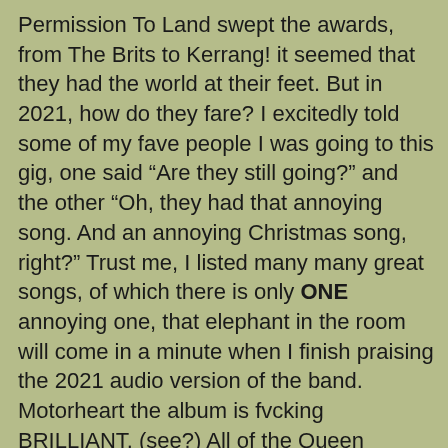Permission To Land swept the awards, from The Brits to Kerrang! it seemed that they had the world at their feet. But in 2021, how do they fare? I excitedly told some of my fave people I was going to this gig, one said “Are they still going?” and the other “Oh, they had that annoying song. And an annoying Christmas song, right?” Trust me, I listed many many great songs, of which there is only ONE annoying one, that elephant in the room will come in a minute when I finish praising the 2021 audio version of the band. Motorheart the album is fvcking BRILLIANT. (see?) All of the Queen flourishes you want (they even have Roger Taylor’s son on drums now and he is grrrreat) and the massive choruses that those who have stuck the course know they can just toss out whenever they want. Aside from the